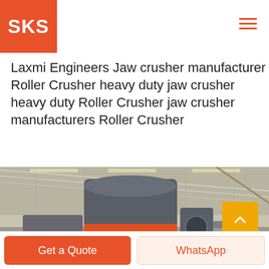SKS
Laxmi Engineers Jaw crusher manufacturer Roller Crusher heavy duty jaw crusher heavy duty Roller Crusher jaw crusher manufacturers Roller Crusher
[Figure (photo): Industrial crushing/grinding mill machine (large cylindrical grey equipment with red band) inside a factory warehouse]
Get a Quote
WhatsApp